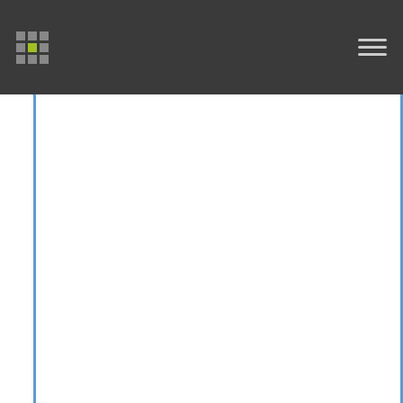México; Uniwersytet Gdanski; NYU Grossman School of Medicine; American University in Cairo; Peking University; Patna University; Universidad de Chile; Faculty of Medicine, Siriraj Hospital, Mahidol University; The Tokyo Metropolitan Research Institute for Environmental Protection; CSIC